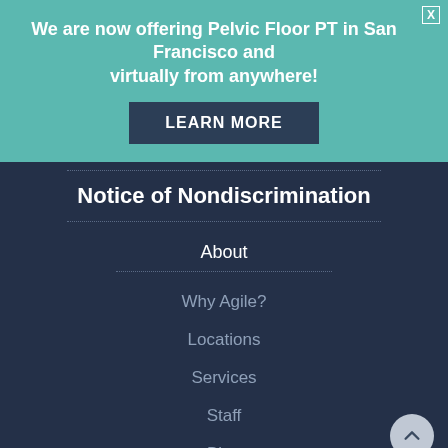We are now offering Pelvic Floor PT in San Francisco and virtually from anywhere!
LEARN MORE
Notice of Nondiscrimination
About
Why Agile?
Locations
Services
Staff
Blog